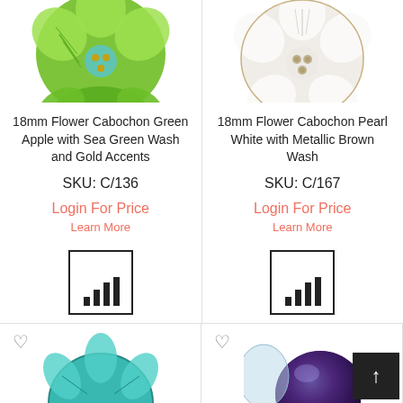[Figure (photo): 18mm green flower cabochon bead, green apple color with sea green wash and gold accents, top portion cut off]
[Figure (photo): 18mm white flower cabochon bead, pearl white with metallic brown wash, top portion cut off]
18mm Flower Cabochon Green Apple with Sea Green Wash and Gold Accents
SKU: C/136
Login For Price
Learn More
[Figure (infographic): Bar chart icon inside a square border]
18mm Flower Cabochon Pearl White with Metallic Brown Wash
SKU: C/167
Login For Price
Learn More
[Figure (infographic): Bar chart icon inside a square border]
[Figure (photo): Bottom partial view of teal/green flower cabochon bead]
[Figure (photo): Bottom partial view of iridescent dark blue/purple round bead]